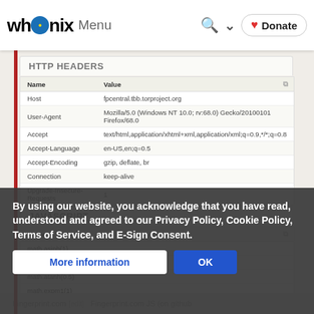Whonix Menu | Search | Donate
HTTP HEADERS
| Name | Value |  |
| --- | --- | --- |
| Host | fpcentral.tbb.torproject.org |  |
| User-Agent | Mozilla/5.0 (Windows NT 10.0; rv:68.0) Gecko/20100101 Firefox/68.0 |  |
| Accept | text/html,application/xhtml+xml,application/xml;q=0.9,*/*;q=0.8 |  |
| Accept-Language | en-US,en;q=0.5 |  |
| Accept-Encoding | gzip, deflate, br |  |
| Connection | keep-alive |  |
| Upgrade-Insecure-Requests | 1 |  |
JAVASCRIPT
| Name | Value |  |
| --- | --- | --- |
| math.asinh(1) |  |  |
| math.acosh(1e300) |  |  |
| math.atanh(0.5) |  |  |
| math.expm1(1) |  |  |
By using our website, you acknowledge that you have read, understood and agreed to our Privacy Policy, Cookie Policy, Terms of Service, and E-Sign Consent.
More information | OK
Fingerprint.com [edit]
Fingerprint.com JS (on github